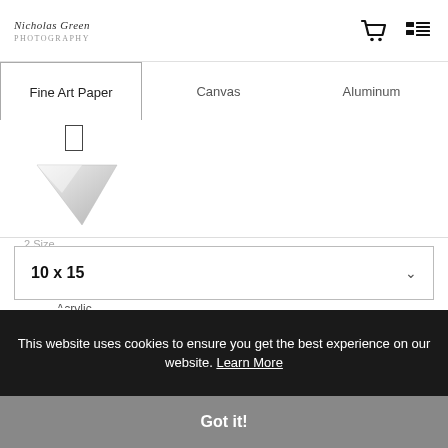Nicholas Green Photography — cart and menu icons
Fine Art Paper | Canvas | Aluminum
[Figure (photo): Acrylic material swatch — a triangular/wedge-shaped piece of clear acrylic with a gray gradient, shown with a small checkbox above it and the label 'Acrylic' below]
2 Size
10 x 15
3 Styles
Just the Print
This website uses cookies to ensure you get the best experience on our website. Learn More
Got it!